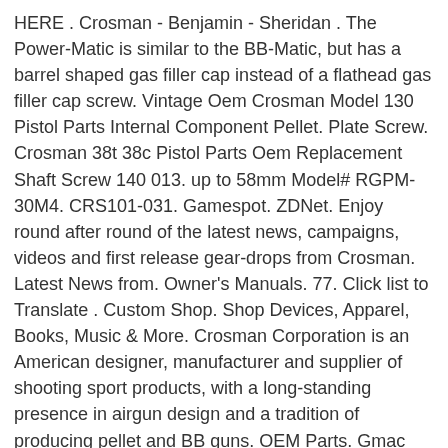HERE . Crosman - Benjamin - Sheridan . The Power-Matic is similar to the BB-Matic, but has a barrel shaped gas filler cap instead of a flathead gas filler cap screw. Vintage Oem Crosman Model 130 Pistol Parts Internal Component Pellet. Plate Screw. Crosman 38t 38c Pistol Parts Oem Replacement Shaft Screw 140 013. up to 58mm Model# RGPM-30M4. CRS101-031. Gamespot. ZDNet. Enjoy round after round of the latest news, campaigns, videos and first release gear-drops from Crosman. Latest News from. Owner's Manuals. 77. Click list to Translate . Custom Shop. Shop Devices, Apparel, Books, Music & More. Crosman Corporation is an American designer, manufacturer and supplier of shooting sport products, with a long-standing presence in airgun design and a tradition of producing pellet and BB guns. OEM Parts. Gmac Stockists USA & Canada ; About us ; Gmacised Crosman Guns ; Multi-Shot Breeches and Parts ; ... The Crosman 1600 Powermatic is a CO2 semi-auto BB caliber pistol with a 17-shot spring fed magazine. © CBS Interactive Inc. All rights reserved. Lost a manual or need a part? $5.00. $8.99. The